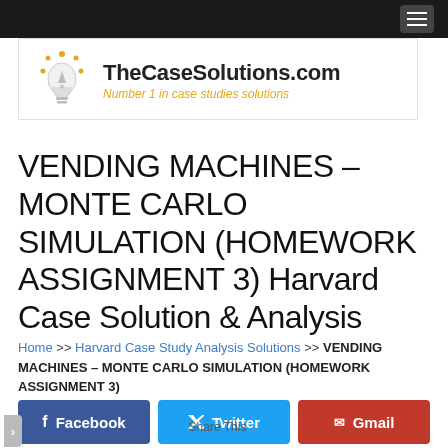[Figure (logo): TheCaseSolutions.com logo with light bulb icon and tagline 'Number 1 in case studies solutions']
VENDING MACHINES – MONTE CARLO SIMULATION (HOMEWORK ASSIGNMENT 3) Harvard Case Solution & Analysis
Home >> Harvard Case Study Analysis Solutions >> VENDING MACHINES – MONTE CARLO SIMULATION (HOMEWORK ASSIGNMENT 3)
[Figure (infographic): Social sharing buttons: Facebook, Twitter, Gmail, with 'Share This' label]